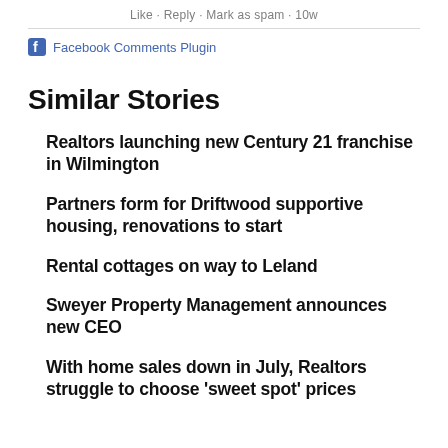Like · Reply · Mark as spam · 10w
[Figure (logo): Facebook Comments Plugin logo and text]
Similar Stories
Realtors launching new Century 21 franchise in Wilmington
Partners form for Driftwood supportive housing, renovations to start
Rental cottages on way to Leland
Sweyer Property Management announces new CEO
With home sales down in July, Realtors struggle to choose 'sweet spot' prices